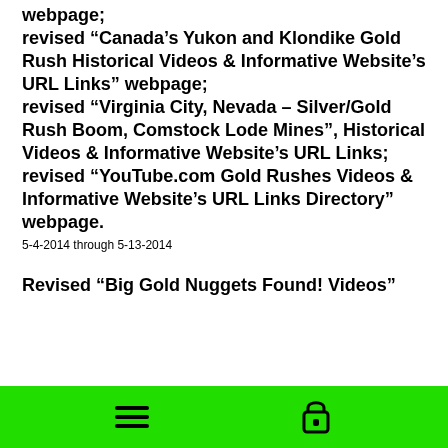webpage;
revised “Canada’s Yukon and Klondike Gold Rush Historical Videos & Informative Website’s URL Links” webpage;
revised “Virginia City, Nevada – Silver/Gold Rush Boom, Comstock Lode Mines”, Historical Videos & Informative Website’s URL Links;
revised “YouTube.com Gold Rushes Videos & Informative Website’s URL Links Directory” webpage.
5-4-2014 through 5-13-2014
Revised “Big Gold Nuggets Found! Videos”